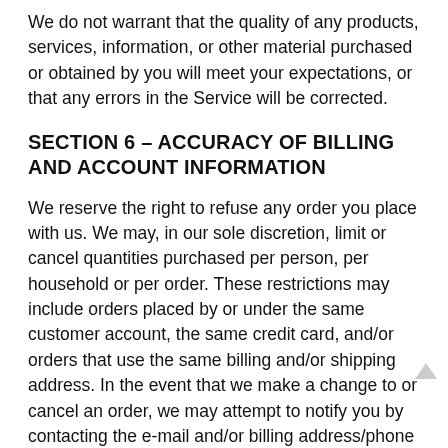We do not warrant that the quality of any products, services, information, or other material purchased or obtained by you will meet your expectations, or that any errors in the Service will be corrected.
SECTION 6 – ACCURACY OF BILLING AND ACCOUNT INFORMATION
We reserve the right to refuse any order you place with us. We may, in our sole discretion, limit or cancel quantities purchased per person, per household or per order. These restrictions may include orders placed by or under the same customer account, the same credit card, and/or orders that use the same billing and/or shipping address. In the event that we make a change to or cancel an order, we may attempt to notify you by contacting the e-mail and/or billing address/phone number provided at the time the order was made. We reserve the right to limit or prohibit orders that, in our sole judgment, appear to be placed by dealers, resellers